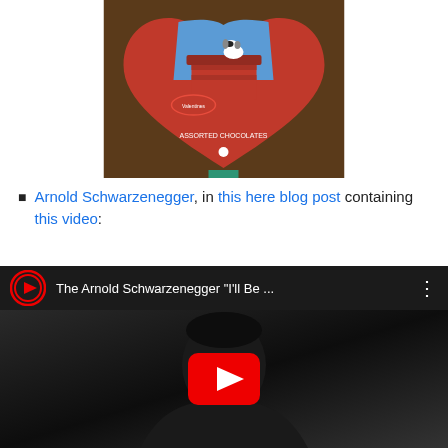[Figure (photo): A heart-shaped box of assorted chocolates with Snoopy (Peanuts character) imagery on the top, sitting on a wooden surface. The box is red/pink with a Snoopy dog house scene and text reading 'ASSORTED CHOCOLATES'.]
Arnold Schwarzenegger, in this here blog post containing this video:
[Figure (screenshot): YouTube video embed thumbnail showing 'The Arnold Schwarzenegger "I'll Be ...' with a play button circle in the header and a large red YouTube play button over a dark thumbnail showing a person's silhouette/face.]